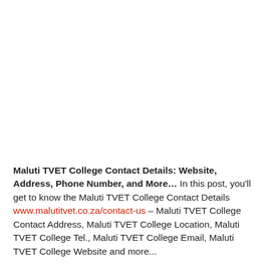Maluti TVET College Contact Details: Website, Address, Phone Number, and More… In this post, you'll get to know the Maluti TVET College Contact Details www.malutitvet.co.za/contact-us – Maluti TVET College Contact Address, Maluti TVET College Location, Maluti TVET College Tel., Maluti TVET College Email, Maluti TVET College Website and more...